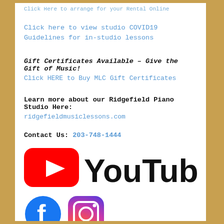Click Here to arrange for your Rental Online
Click here to view studio COVID19 Guidelines for in-studio lessons
Gift Certificates Available – Give the Gift of Music!
Click HERE to Buy MLC Gift Certificates
Learn more about our Ridgefield Piano Studio Here:
ridgefieldmusiclessons.com
Contact Us: 203-748-1444
[Figure (logo): YouTube logo with red play button icon and YouTube text]
[Figure (logo): Facebook and Instagram social media icons]